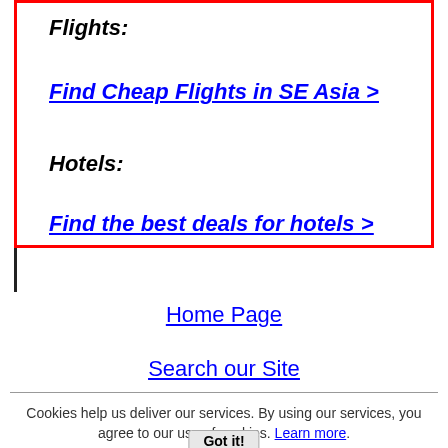Flights:
Find Cheap Flights in SE Asia >
Hotels:
Find the best deals for hotels >
Home Page
Search our Site
Cookies help us deliver our services. By using our services, you agree to our use of cookies. Learn more. Got it!